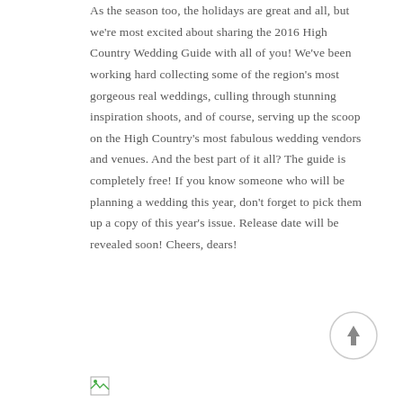As the season too, the holidays are great and all, but we're most excited about sharing the 2016 High Country Wedding Guide with all of you! We've been working hard collecting some of the region's most gorgeous real weddings, culling through stunning inspiration shoots, and of course, serving up the scoop on the High Country's most fabulous wedding vendors and venues. And the best part of it all? The guide is completely free! If you know someone who will be planning a wedding this year, don't forget to pick them up a copy of this year's issue. Release date will be revealed soon! Cheers, dears!
[Figure (illustration): Small broken image icon placeholder at bottom left]